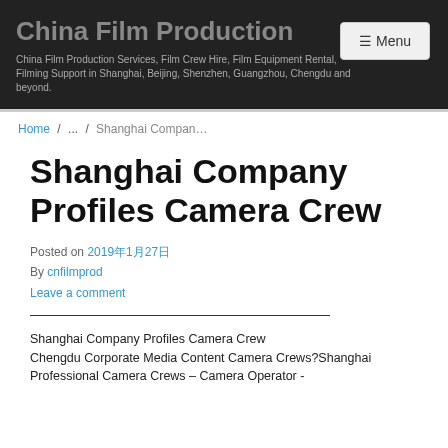China Film Production
China Film Production Services, Film Crew Hire, Film Equipment Rental, Filming Support in Shanghai, Beijing, Shenzhen, Guangzhou, Chengdu and beyond.
Home / ... / Shanghai Compan...
Shanghai Company Profiles Camera Crew
Posted on 2019年1月27日
By cnfilmprod
Leave a comment
Shanghai Company Profiles Camera Crew
Chengdu Corporate Media Content Camera Crews?Shanghai Professional Camera Crews – Camera Operator -